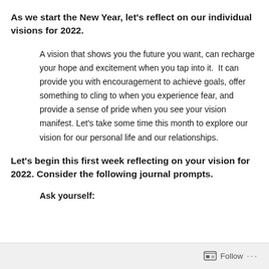As we start the New Year, let's reflect on our individual visions for 2022.
A vision that shows you the future you want, can recharge your hope and excitement when you tap into it.  It can provide you with encouragement to achieve goals, offer something to cling to when you experience fear, and provide a sense of pride when you see your vision manifest. Let's take some time this month to explore our vision for our personal life and our relationships.
Let's begin this first week reflecting on your vision for 2022. Consider the following journal prompts.
Ask yourself:
Follow